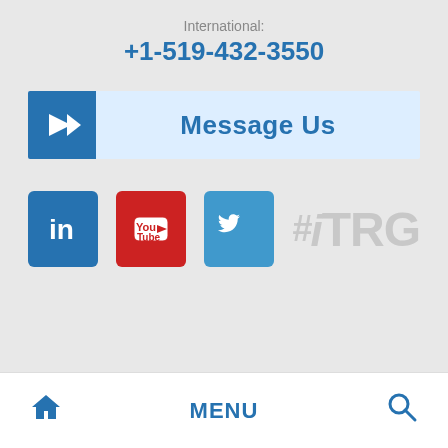International: +1-519-432-3550
Message Us
[Figure (infographic): Social media icons: LinkedIn (blue), YouTube (red), Twitter (blue), and #iTRG hashtag logo in grey]
Home icon | MENU | Search icon